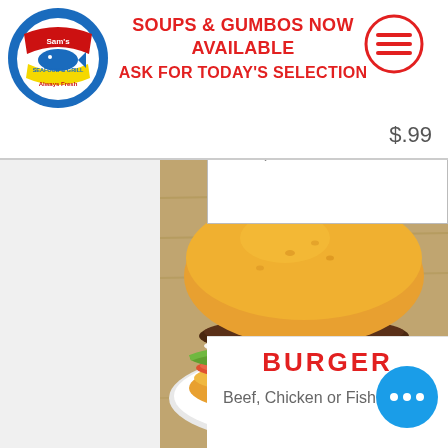[Figure (logo): Sam's Seafood & Grill circular logo with fish and blue/red/yellow design]
SOUPS & GUMBOS NOW AVAILABLE
ASK FOR TODAY'S SELECTION
[Figure (illustration): Hamburger menu icon (three horizontal lines) inside a red circle]
$.99
Shrimp
[Figure (photo): A large burger with beef patty, lettuce, tomato, pickles, onion, and cheese on a white plate against a wood table background]
BURGER
Beef, Chicken or Fish
$5.99